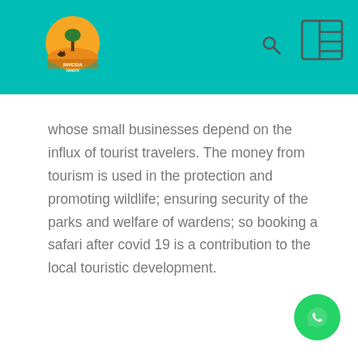Invesia Safaris header with logo, search icon, and menu icon
whose small businesses depend on the influx of tourist travelers. The money from tourism is used in the protection and promoting wildlife; ensuring security of the parks and welfare of wardens; so booking a safari after covid 19 is a contribution to the local touristic development.